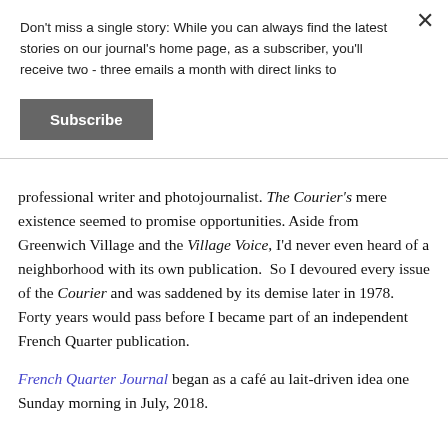Don't miss a single story: While you can always find the latest stories on our journal's home page, as a subscriber, you'll receive two - three emails a month with direct links to
Subscribe
professional writer and photojournalist. The Courier's mere existence seemed to promise opportunities. Aside from Greenwich Village and the Village Voice, I'd never even heard of a neighborhood with its own publication.  So I devoured every issue of the Courier and was saddened by its demise later in 1978. Forty years would pass before I became part of an independent French Quarter publication.
French Quarter Journal began as a café au lait-driven idea one Sunday morning in July, 2018.